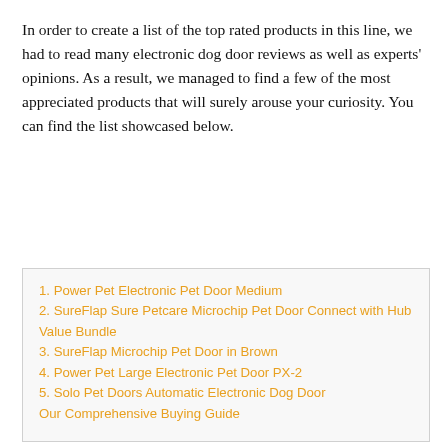In order to create a list of the top rated products in this line, we had to read many electronic dog door reviews as well as experts' opinions. As a result, we managed to find a few of the most appreciated products that will surely arouse your curiosity. You can find the list showcased below.
1. Power Pet Electronic Pet Door Medium
2. SureFlap Sure Petcare Microchip Pet Door Connect with Hub Value Bundle
3. SureFlap Microchip Pet Door in Brown
4. Power Pet Large Electronic Pet Door PX-2
5. Solo Pet Doors Automatic Electronic Dog Door
Our Comprehensive Buying Guide